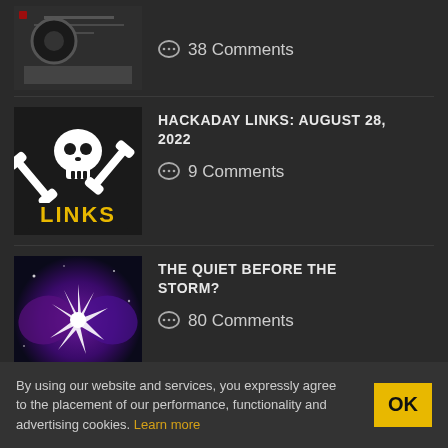[Figure (photo): Partial thumbnail of a dark image showing cables/blueprints]
38 Comments
[Figure (illustration): Hackaday Links logo: skull and crossbones made of wrenches, with LINKS text in yellow below on black background]
HACKADAY LINKS: AUGUST 28, 2022
9 Comments
[Figure (illustration): The Quiet Before The Storm thumbnail: galaxy/space image with star burst in center, purple and dark tones]
THE QUIET BEFORE THE STORM?
80 Comments
[Figure (illustration): Hackaday Podcast 183 thumbnail: circuit/pixel art stylized logo with yellow and circuit board elements]
HACKADAY PODCAST 183:
By using our website and services, you expressly agree to the placement of our performance, functionality and advertising cookies. Learn more